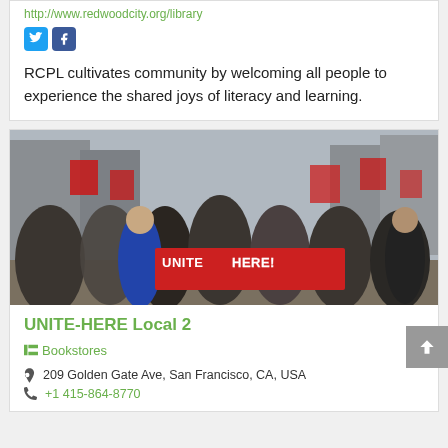http://www.redwoodcity.org/library
[Figure (other): Twitter and Facebook social media icons]
RCPL cultivates community by welcoming all people to experience the shared joys of literacy and learning.
[Figure (photo): Protest march photo showing people carrying a large red UNITE HERE! banner on a city street]
UNITE-HERE Local 2
Bookstores
209 Golden Gate Ave, San Francisco, CA, USA
+1 415-864-8770